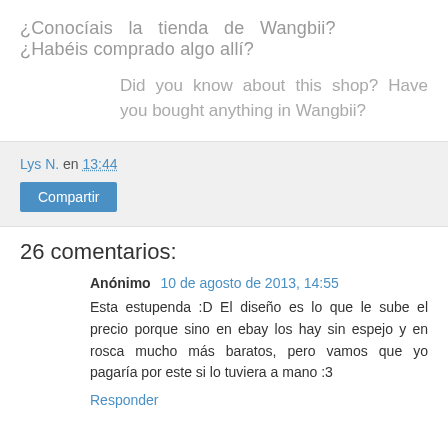¿Conocíais la tienda de Wangbii? ¿Habéis comprado algo allí?
Did you know about this shop? Have you bought anything in Wangbii?
Lys N. en 13:44
Compartir
26 comentarios:
Anónimo  10 de agosto de 2013, 14:55
Esta estupenda :D El diseño es lo que le sube el precio porque sino en ebay los hay sin espejo y en rosca mucho más baratos, pero vamos que yo pagaría por este si lo tuviera a mano :3
Responder